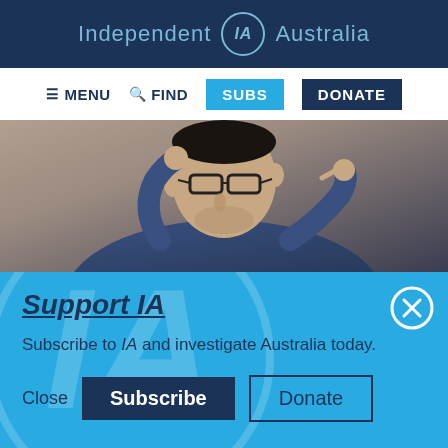Independent IA Australia
[Figure (screenshot): Navigation bar with hamburger menu icon MENU, magnifier FIND, SUBS button in cyan, DONATE button in dark navy]
[Figure (photo): Photo of a man wearing glasses and a denim jacket, adjusting his glasses with one hand and pointing near his eye with the other]
Support IA
Subscribe to IA and investigate Australia today.
Close  Subscribe  Donate